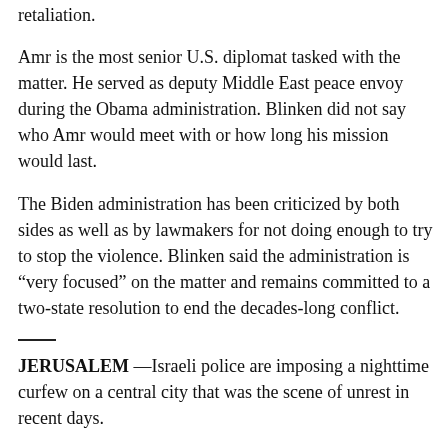retaliation.
Amr is the most senior U.S. diplomat tasked with the matter. He served as deputy Middle East peace envoy during the Obama administration. Blinken did not say who Amr would meet with or how long his mission would last.
The Biden administration has been criticized by both sides as well as by lawmakers for not doing enough to try to stop the violence. Blinken said the administration is “very focused” on the matter and remains committed to a two-state resolution to end the decades-long conflict.
JERUSALEM —Israeli police are imposing a nighttime curfew on a central city that was the scene of unrest in recent days.
Police said in a statement on Wednesday that officers would enforce the ban on people entering the city of Lod